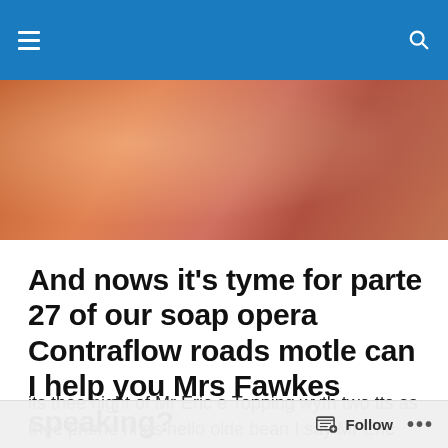Navigation bar with hamburger menu and search icon
[Figure (photo): Blurred warm-toned photo showing faces or figures in an orange-red color palette, used as a hero/banner image.]
And nows it's tyme for parte 27 of our soap opera Contraflow roads motle can I help you Mrs Fawkes speaking?
its thee night of Mr Eric e Topping wyth two tts as thee phone rings hello olde bean I say Mr Eric Topping number
Follow ...